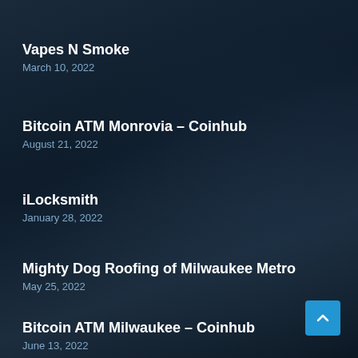Vapes N Smoke
March 10, 2022
Bitcoin ATM Monrovia – Coinhub
August 21, 2022
iLocksmith
January 28, 2022
Mighty Dog Roofing of Milwaukee Metro
May 25, 2022
Bitcoin ATM Milwaukee – Coinhub
June 13, 2022